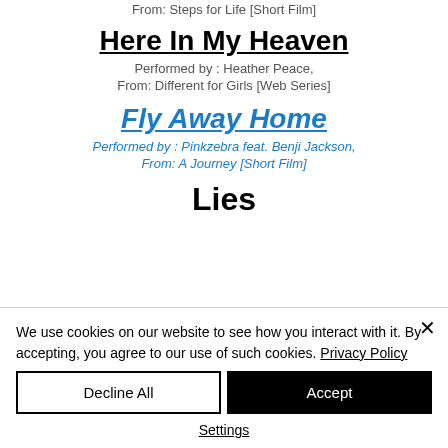From: Steps for Life [Short Film]
Here In My Heaven
Performed by : Heather Peace,
From: Different for Girls [Web Series]
Fly Away Home
Performed by : Pinkzebra feat. Benji Jackson,
From: A Journey [Short Film]
Lies
We use cookies on our website to see how you interact with it. By accepting, you agree to our use of such cookies. Privacy Policy
Decline All
Accept
Settings